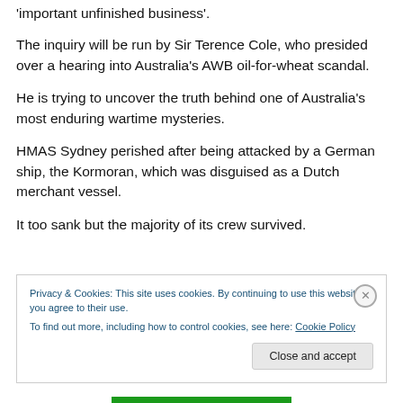'important unfinished business'.
The inquiry will be run by Sir Terence Cole, who presided over a hearing into Australia's AWB oil-for-wheat scandal.
He is trying to uncover the truth behind one of Australia's most enduring wartime mysteries.
HMAS Sydney perished after being attacked by a German ship, the Kormoran, which was disguised as a Dutch merchant vessel.
It too sank but the majority of its crew survived.
Privacy & Cookies: This site uses cookies. By continuing to use this website, you agree to their use.
To find out more, including how to control cookies, see here: Cookie Policy